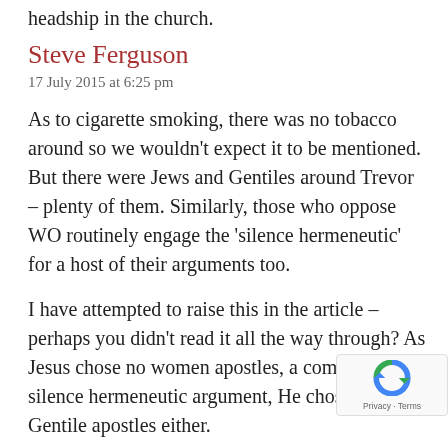headship in the church.
Steve Ferguson
17 July 2015 at 6:25 pm
As to cigarette smoking, there was no tobacco around so we wouldn't expect it to be mentioned. But there were Jews and Gentiles around Trevor – plenty of them. Similarly, those who oppose WO routinely engage the ‘silence hermeneutic’ for a host of their arguments too.
I have attempted to raise this in the article – perhaps you didn’t read it all the way through? As Jesus chose no women apostles, a common silence hermeneutic argument, He chose no Gentile apostles either.
Opponents of WO can’t have it both